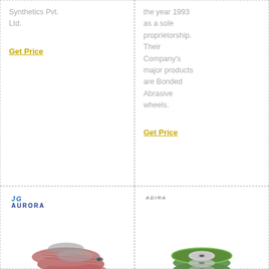Synthetics Pvt. Ltd.
Get Price
the year 1993 as a sole proprietorship. Their Company's major products are Bonded Abrasive wheels.
Get Price
[Figure (photo): Aurora branded flap/abrasive discs stacked, pink/red color, with JG Aurora logo in top left]
[Figure (photo): Adira branded green and black cutting/grinding wheels stacked, with Adira logo in top left]